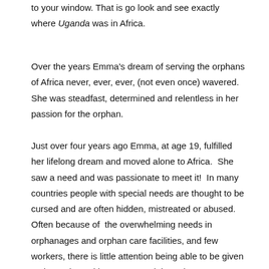to your window. That is go look and see exactly where Uganda was in Africa.
Over the years Emma's dream of serving the orphans of Africa never, ever, ever, (not even once) wavered.  She was steadfast, determined and relentless in her passion for the orphan.
Just over four years ago Emma, at age 19, fulfilled her lifelong dream and moved alone to Africa.  She saw a need and was passionate to meet it!  In many countries people with special needs are thought to be cursed and are often hidden, mistreated or abused.  Often because of  the overwhelming needs in orphanages and orphan care facilities, and few workers, there is little attention being able to be given to the orphan with severe special needs.